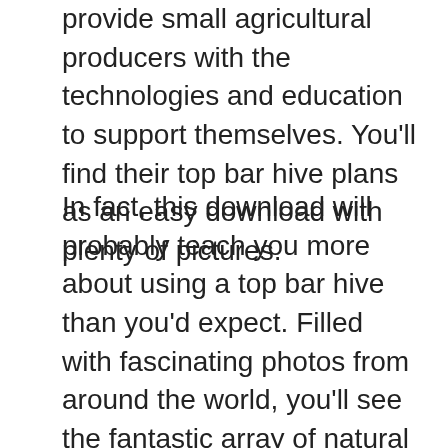provide small agricultural producers with the technologies and education to support themselves. You'll find their top bar hive plans as an easy download with plenty of pictures.
In fact, this download will probably teach you more about using a top bar hive than you'd expect. Filled with fascinating photos from around the world, you'll see the fantastic array of natural materials people use for building their hives. The creative use of local materials includes raffia palm wood, woven wicker, bamboo matting, and even thatched to match the local houses. The builders seal the hives with mud to keep out other insects.
You'll also get building plans and step by step photo instructions for putting your hive